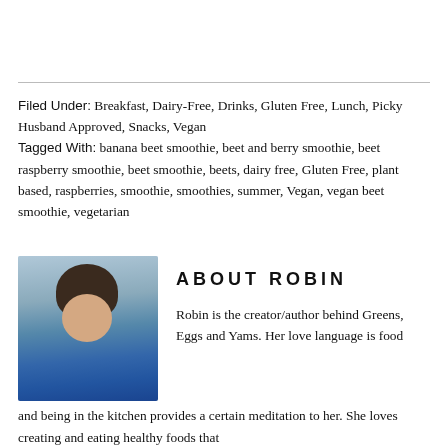Filed Under: Breakfast, Dairy-Free, Drinks, Gluten Free, Lunch, Picky Husband Approved, Snacks, Vegan
Tagged With: banana beet smoothie, beet and berry smoothie, beet raspberry smoothie, beet smoothie, beets, dairy free, Gluten Free, plant based, raspberries, smoothie, smoothies, summer, Vegan, vegan beet smoothie, vegetarian
[Figure (photo): Portrait photo of Robin, a woman with dark hair in a bun wearing sunglasses and a blue jacket]
ABOUT ROBIN
Robin is the creator/author behind Greens, Eggs and Yams. Her love language is food and being in the kitchen provides a certain meditation to her. She loves creating and eating healthy foods that